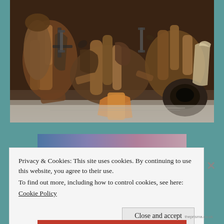[Figure (photo): A pile of old prosthetic limbs, wooden legs, orthopaedic devices and leather straps piled together on a light-coloured surface, photographed in what appears to be a museum context.]
Privacy & Cookies: This site uses cookies. By continuing to use this website, you agree to their use.
To find out more, including how to control cookies, see here:
Cookie Policy
Close and accept